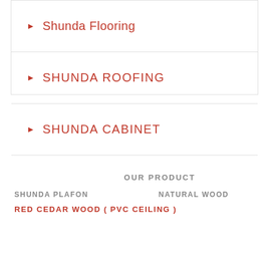Shunda Flooring
SHUNDA ROOFING
SHUNDA CABINET
OUR PRODUCT
SHUNDA PLAFON        NATURAL WOOD
RED CEDAR WOOD ( PVC CEILING )